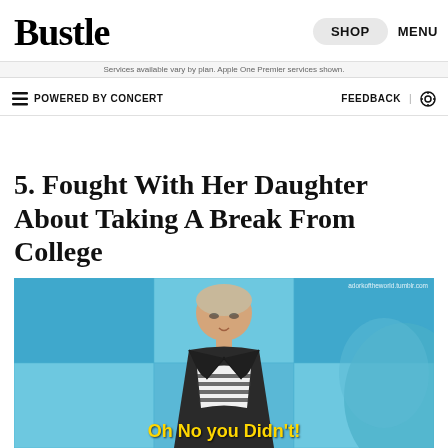Bustle | SHOP MENU
Services available vary by plan. Apple One Premier services shown.
POWERED BY CONCERT | FEEDBACK
5. Fought With Her Daughter About Taking A Break From College
[Figure (photo): GIF of a woman in a striped shirt and dark blazer standing on a talk show set with blue background panels. Yellow text at bottom reads 'Oh No you Didn't!']